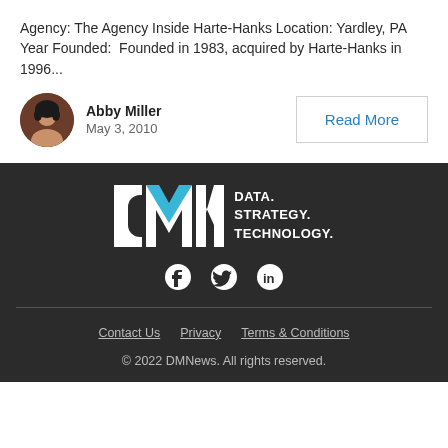Agency: The Agency Inside Harte-Hanks Location: Yardley, PA Year Founded: Founded in 1983, acquired by Harte-Hanks in 1996...
Abby Miller
May 3, 2010
Read More
[Figure (logo): DMN logo with tagline DATA. STRATEGY. TECHNOLOGY. on dark background with social media icons (Facebook, Twitter, LinkedIn)]
Contact Us  Privacy  Terms & Conditions
© 2022 DMNews. All rights reserved.